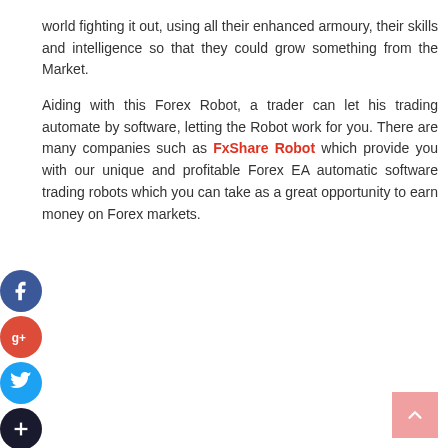world fighting it out, using all their enhanced armoury, their skills and intelligence so that they could grow something from the Market.
Aiding with this Forex Robot, a trader can let his trading automate by software, letting the Robot work for you. There are many companies such as FxShare Robot which provide you with our unique and profitable Forex EA automatic software trading robots which you can take as a great opportunity to earn money on Forex markets.
[Figure (illustration): Social media sharing icons: Facebook (blue circle with f), Google+ (red circle with g+), Twitter (light blue circle with bird), and Add/Share (dark circle with +)]
[Figure (illustration): Pink/salmon colored back-to-top button with upward chevron arrow in the bottom-right corner]